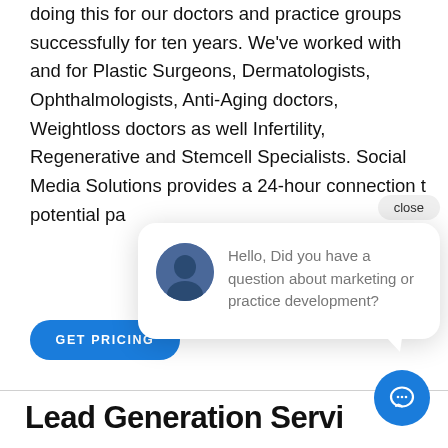doing this for our doctors and practice groups successfully for ten years. We've worked with and for Plastic Surgeons, Dermatologists, Ophthalmologists, Anti-Aging doctors, Weightloss doctors as well Infertility, Regenerative and Stemcell Specialists. Social Media Solutions provides a 24-hour connection t potential pa
[Figure (screenshot): Chat widget overlay with close button, avatar image, and message 'Hello, Did you have a question about marketing or practice development?']
GET PRICING
Lead Generation Servi
[Figure (illustration): Blue circular chat icon button in bottom right corner]